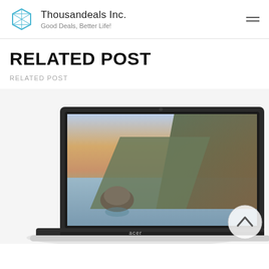Thousandeals Inc. — Good Deals, Better Life!
RELATED POST
RELATED POST
[Figure (photo): Acer laptop (Chromebook) open at an angle showing a scenic wallpaper of mountains, lake, and sky on its display screen, photographed against a white background. A scroll-to-top circular button overlay is visible at the bottom right.]